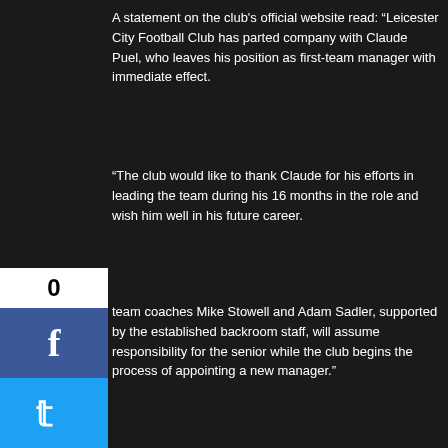A statement on the club's official website read: “Leicester City Football Club has parted company with Claude Puel, who leaves his position as first-team manager with immediate effect.
“The club would like to thank Claude for his efforts in leading the team during his 16 months in the role and wish him well in his future career.
team coaches Mike Stowell and Adam Sadler, supported by the established backroom staff, will assume responsibility for the senior while the club begins the process of appointing a new manager.”
ster are 1.91 to beat Brighton on Tuesday evening. The lls are 4.33 to win, with the draw 3.50 for the King Power m clash.
Leave a comment
Previous Post
Warren Gatland questions England’s big-game mentality
Next Post